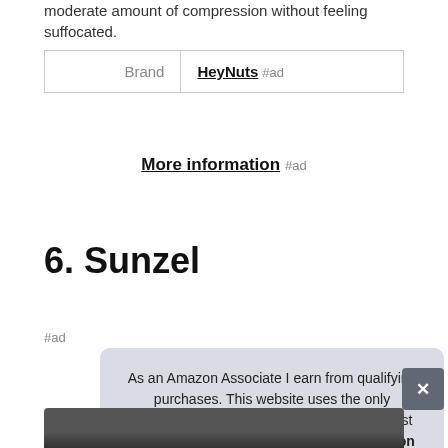moderate amount of compression without feeling suffocated.
| Brand |  |
| --- | --- |
| Brand | HeyNuts #ad |
More information #ad
6. Sunzel
#ad
As an Amazon Associate I earn from qualifying purchases. This website uses the only necessary cookies to ensure you get the best experience on our website. More information